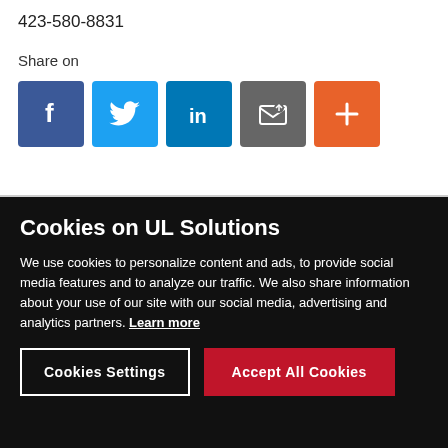423-580-8831
Share on
[Figure (illustration): Social media sharing icons: Facebook (blue), Twitter (light blue), LinkedIn (dark blue), Email (gray), More/Plus (orange-red)]
Cookies on UL Solutions
We use cookies to personalize content and ads, to provide social media features and to analyze our traffic. We also share information about your use of our site with our social media, advertising and analytics partners. Learn more
Cookies Settings
Accept All Cookies